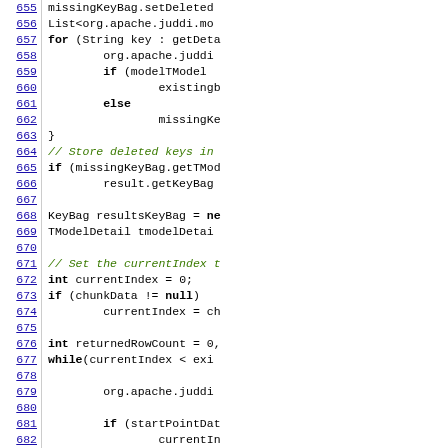[Figure (screenshot): Source code listing showing Java code with line numbers 655-684. The code involves missingKeyBag, List, for loop, if/else, KeyBag, TModelDetail, currentIndex, chunkData, returnedRowCount, while loop, org.apache.juddi references.]